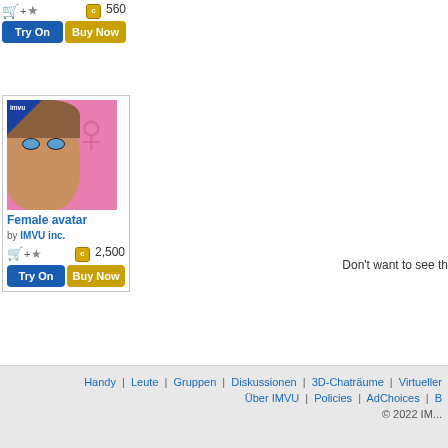[Figure (screenshot): Top product card area showing price 560 credits with Try On and Buy Now buttons]
[Figure (photo): Female avatar product card from IMVU inc. showing a 3D female avatar face on pink background with female symbol]
Female avatar
by IMVU inc.
2,500
Don't want to see th
Handy | Leute | Gruppen | Diskussionen | 3D-Chaträume | Virtueller... Über IMVU | Policies | AdChoices | B... © 2022 IM...